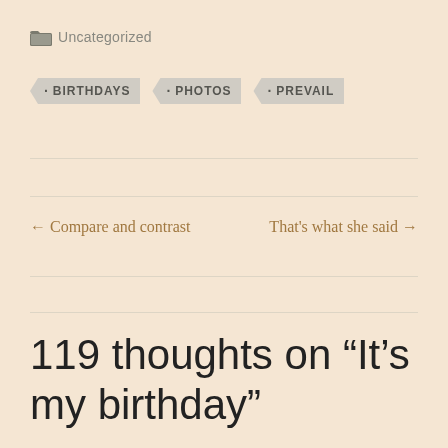Uncategorized
BIRTHDAYS
PHOTOS
PREVAIL
← Compare and contrast
That's what she said →
119 thoughts on “It’s my birthday”